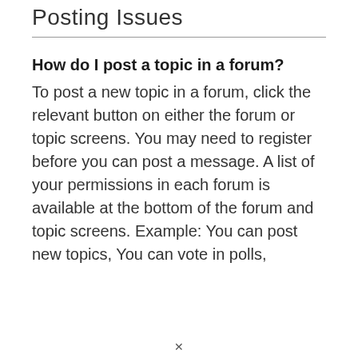Posting Issues
How do I post a topic in a forum?
To post a new topic in a forum, click the relevant button on either the forum or topic screens. You may need to register before you can post a message. A list of your permissions in each forum is available at the bottom of the forum and topic screens. Example: You can post new topics, You can vote in polls,